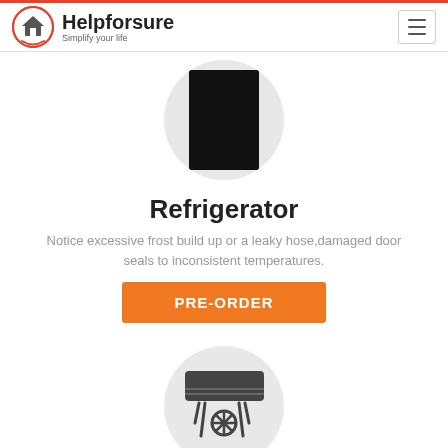Helpforsure - Simplify your life
[Figure (illustration): Refrigerator icon in black on light gray circle background]
Refrigerator
Notice excessive frost build up or a leaky hose,damaged door seals to inconsistent temperatures.
PRE-ORDER
[Figure (illustration): Air conditioner icon in dark gray on light gray circle background]